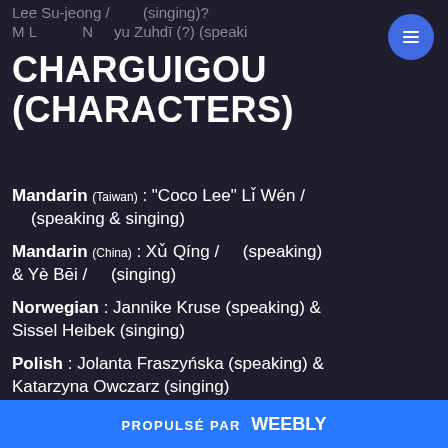Lee Su-jeong /        (singing)?
CHARGUIGOU (CHARACTERS)
Mandarin (Taiwan) : "Coco Lee" Lǐ Wén / (speaking & singing)
Mandarin (China) : Xǔ Qíng /   (speaking) & Yè Bēi /   (singing)
Norwegian : Jannike Kruse (speaking) & Sissel Heibek (singing)
Polish : Jolanta Fraszyńska (speaking) & Katarzyna Owczarz (singing)
Portuguese (Brazil) : Kacau Gomes (speaking & singing)
Portuguese : Carla de Sá (speaking) &
PROPULSÉ PAR weebly